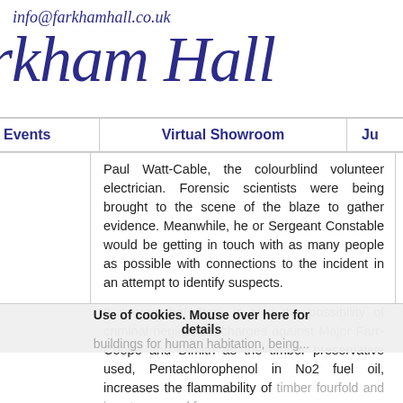info@farkhamhall.co.uk
rkham Hall
Events
Virtual Showroom
Ju
Paul Watt-Cable, the colourblind volunteer electrician. Forensic scientists were being brought to the scene of the blaze to gather evidence. Meanwhile, he or Sergeant Constable would be getting in touch with as many people as possible with connections to the incident in an attempt to identify suspects.
It seems that there is also the possibility of criminal negligence charges against Major Farr-Coope and Dimitri as the timber preservative used, Pentachlorophenol in No2 fuel oil, increases the flammability of timber fourfold and is not approved for any buildings for human habitation, being...
Use of cookies. Mouse over here for details